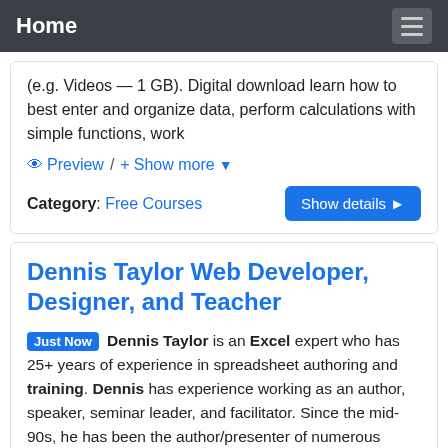Home
(e.g. Videos — 1 GB). Digital download learn how to best enter and organize data, perform calculations with simple functions, work
Preview / + Show more
Category: Free Courses
Dennis Taylor Web Developer, Designer, and Teacher
Just Now Dennis Taylor is an Excel expert who has 25+ years of experience in spreadsheet authoring and training. Dennis has experience working as an author, speaker, seminar leader, and facilitator. Since the mid-90s, he has been the author/presenter of numerous Excel video and online courses and has traveled throughout the U.S. and Canada presenting